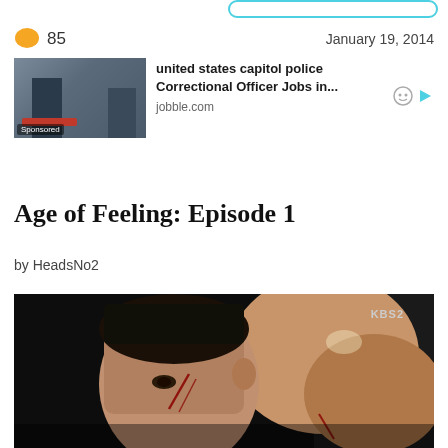85   January 19, 2014
[Figure (photo): Sponsored advertisement: police officer with clipboard. Text: 'united states capitol police Correctional Officer Jobs in...' jobble.com]
Age of Feeling: Episode 1
by HeadsNo2
[Figure (photo): KBS2 drama screenshot: Young shirtless male actor with bloody scratches on face, looking intensely to the side. Dark background.]